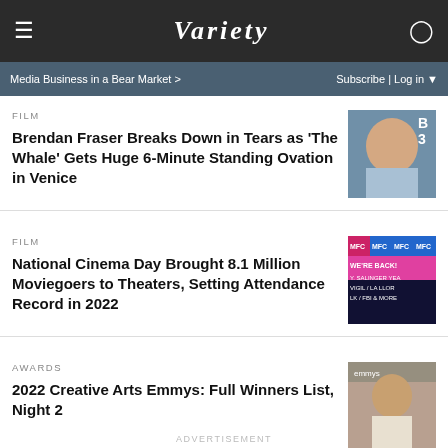VARIETY
Media Business in a Bear Market >   Subscribe | Log in
FILM
Brendan Fraser Breaks Down in Tears as 'The Whale' Gets Huge 6-Minute Standing Ovation in Venice
[Figure (photo): Photo of Brendan Fraser at Venice film festival]
FILM
National Cinema Day Brought 8.1 Million Moviegoers to Theaters, Setting Attendance Record in 2022
[Figure (photo): Photo of movie theater signage showing WE'RE BACK! with show listings]
AWARDS
2022 Creative Arts Emmys: Full Winners List, Night 2
[Figure (photo): Photo of Emmy award winner at the Emmys ceremony in white suit]
ADVERTISEMENT